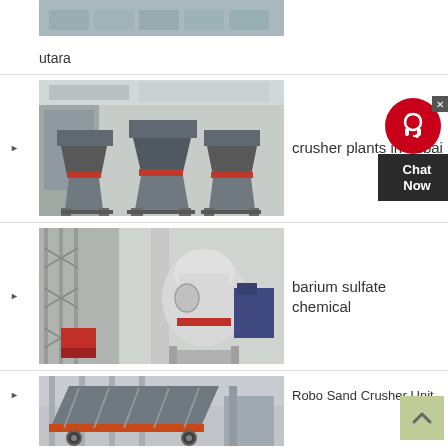[Figure (photo): Partial view of industrial facility floor, top-cropped image]
utara
[Figure (photo): Multiple cone crusher machines in a factory setting with red-banded bases and grey hoppers]
crusher plants in dubai
[Figure (photo): Large industrial Raymond mill or grinding mill tower in a factory with scaffolding and red components]
barium sulfate chemical
[Figure (photo): Industrial vibrating screen or crusher unit in a large manufacturing plant, orange-accented machinery]
Robo Sand Crusher Unit
[Figure (infographic): Chat Now customer service widget with red circle icon and dark background, showing headset icon]